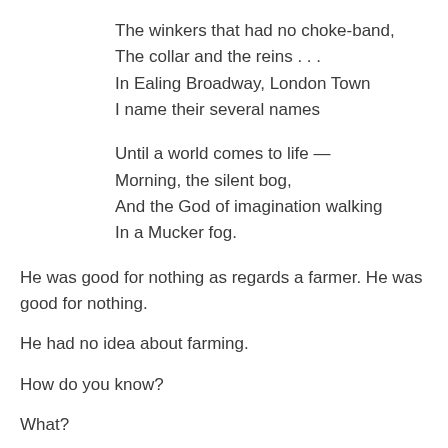The winkers that had no choke-band,
The collar and the reins . . .
In Ealing Broadway, London Town
I name their several names
Until a world comes to life —
Morning, the silent bog,
And the God of imagination walking
In a Mucker fog.
He was good for nothing as regards a farmer. He was good for nothing.
He had no idea about farming.
How do you know?
What?
How do you know?
Because he went down the old road with the old